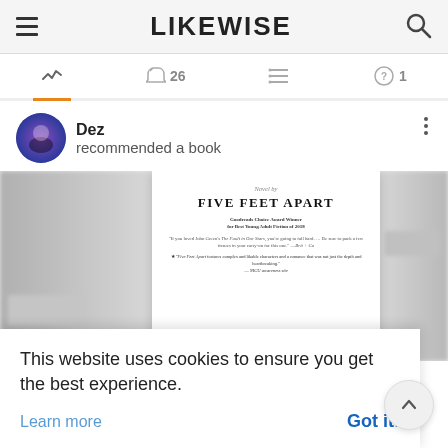LIKEWISE
[Figure (screenshot): Tab bar with activity, notifications (26), list, and messages (1) icons]
Dez recommended a book
[Figure (photo): Book cover for Five Feet Apart shown in center with blurred book covers on sides. Book title reads FIVE FEET APART. Goodreads Choice Award Winner for Best Young Adult Fiction of 2018.]
This website uses cookies to ensure you get the best experience.
Learn more
Got it!